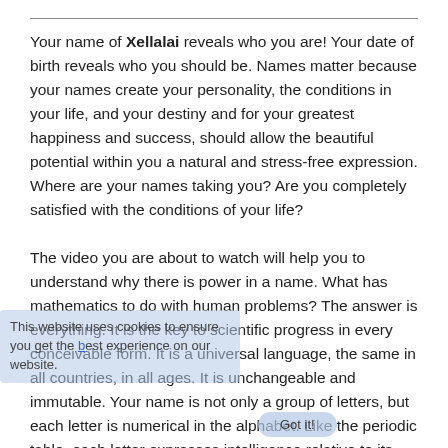Your name of Xellalai reveals who you are! Your date of birth reveals who you should be. Names matter because your names create your personality, the conditions in your life, and your destiny and for your greatest happiness and success, should allow the beautiful potential within you a natural and stress-free expression. Where are your names taking you? Are you completely satisfied with the conditions of your life?

The video you are about to watch will help you to understand why there is power in a name. What has mathematics to do with human problems? The answer is everything. It is the key to scientific progress in every conceivable form. It is a universal language, the same in all countries, in all ages. It is unchangeable and immutable. Your name is not only a group of letters, but each letter is numerical in the alphabet. Like the periodic table, each letter expresses intelligence relative to its position. When you put letters together in a name, specific